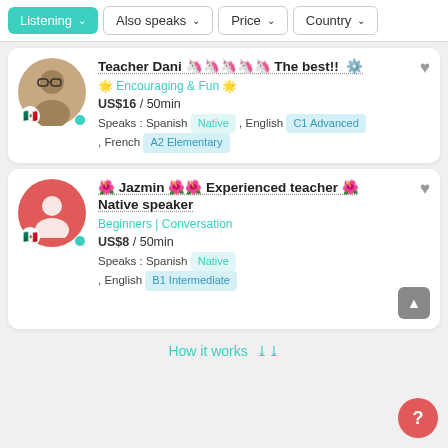Listening  |  Also speaks  |  Price  |  Country
Teacher Dani 🦄🦄🦄🦄🦄 The best!! 🔆 — Encouraging & Fun 🌟 — US$16 / 50min — Speaks : Spanish Native , English C1 Advanced , French A2 Elementary
🌺 Jazmin 🌺🌺 Experienced teacher 🌺 Native speaker — Beginners | Conversation — US$8 / 50min — Speaks : Spanish Native , English B1 Intermediate
How it works ❯❯